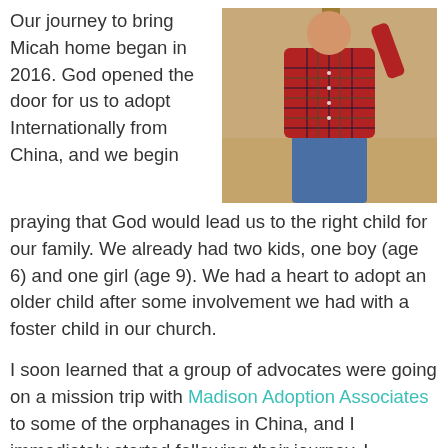Our journey to bring Micah home began in 2016. God opened the door for us to adopt Internationally from China, and we begin praying that God would lead us to the right child for our family. We already had two kids, one boy (age 6) and one girl (age 9). We had a heart to adopt an older child after some involvement we had with a foster child in our church.
[Figure (photo): A boy in a red plaid flannel shirt and blue jeans, appearing to be climbing or leaning on a wooden fence post, outdoors with a sandy/dirt background.]
I soon learned that a group of advocates were going on a mission trip with Madison Adoption Associates to some of the orphanages in China, and I immediately started following their journey. I became drawn to one of the boys in the pictures/videos. This sweet boy would later be known as our Mighty Micah. We locked in the paperwork to adopt Micah in November 2016.